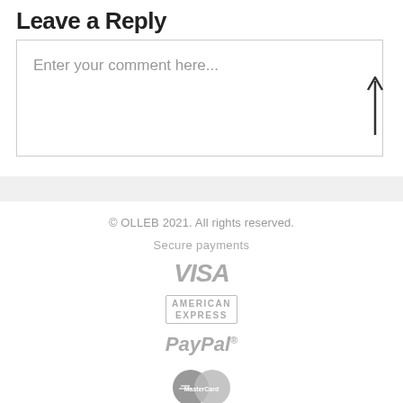Leave a Reply
Enter your comment here...
© OLLEB 2021. All rights reserved.
Secure payments
[Figure (logo): VISA logo in italic bold gray text]
[Figure (logo): AMERICAN EXPRESS logo in small caps gray text with border]
[Figure (logo): PayPal italic bold gray text logo]
[Figure (logo): MasterCard overlapping circles logo in gray]
[Figure (other): Scroll-to-top arrow pointing upward on the right side]